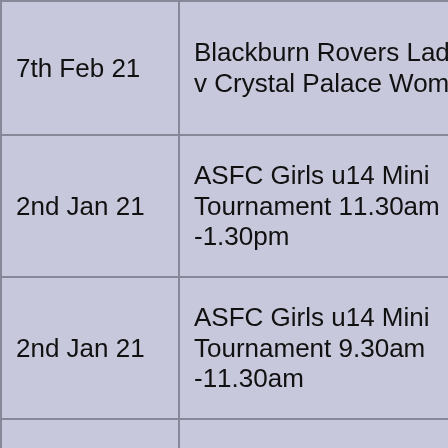| Date | Event |
| --- | --- |
| 7th Feb 21 | Blackburn Rovers Ladies v Crystal Palace Women |
| 2nd Jan 21 | ASFC Girls u14 Mini Tournament 11.30am -1.30pm |
| 2nd Jan 21 | ASFC Girls u14 Mini Tournament 9.30am -11.30am |
| 20th Dec 20 | Blackburn Rovers Ladies v Leicester City Women |
|  | Sheffield Utd... |